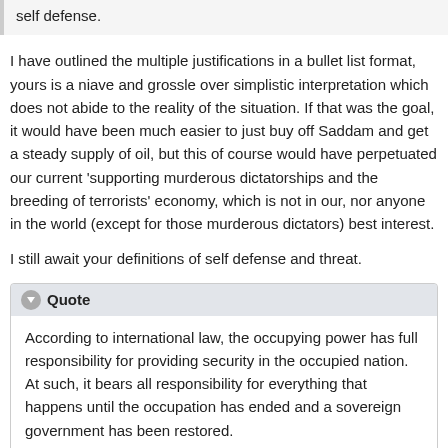self defense.
I have outlined the multiple justifications in a bullet list format, yours is a niave and grossle over simplistic interpretation which does not abide to the reality of the situation. If that was the goal, it would have been much easier to just buy off Saddam and get a steady supply of oil, but this of course would have perpetuated our current 'supporting murderous dictatorships and the breeding of terrorists' economy, which is not in our, nor anyone in the world (except for those murderous dictators) best interest.
I still await your definitions of self defense and threat.
Quote
According to international law, the occupying power has full responsibility for providing security in the occupied nation. At such, it bears all responsibility for everything that happens until the occupation has ended and a sovereign government has been restored.